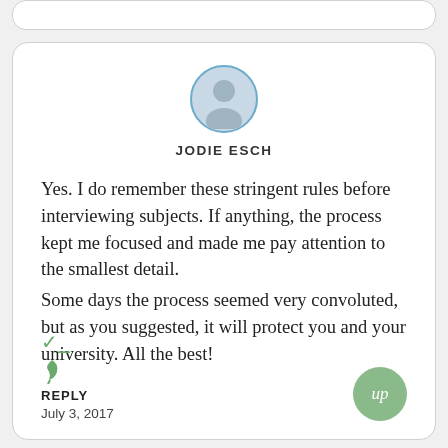[Figure (illustration): Generic user avatar circle with person silhouette, blue border, grey fill]
JODIE ESCH
Yes. I do remember these stringent rules before interviewing subjects. If anything, the process kept me focused and made me pay attention to the smallest detail.
Some days the process seemed very convoluted, but as you suggested, it will protect you and your university. All the best!
REPLY
July 3, 2017